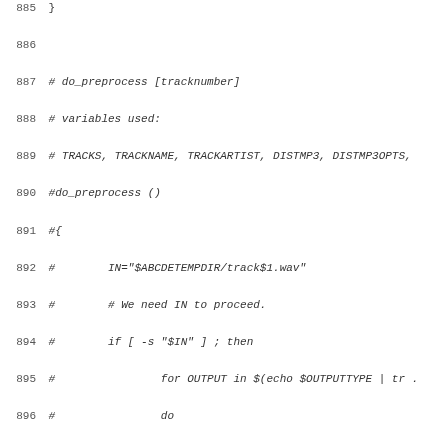885 }
886 
887 # do_preprocess [tracknumber]
888 # variables used:
889 # TRACKS, TRACKNAME, TRACKARTIST, DISTMP3, DISTMP3OPTS,
890 #do_preprocess ()
891 #{
892 #        IN="$ABCDETEMPDIR/track$1.wav"
893 #        # We need IN to proceed.
894 #        if [ -s "$IN" ] ; then
895 #                for OUTPUT in $(echo $OUTPUTTYPE | tr .
896 #                do
897 #                        #OUT="$ABCDETEMPDIR/track$1.$OU
898 #                        run_command '' echo "Pre-proces
899 #                        case "$POSTPROCESSFORMAT" in
900 #                        all|wav*)
901 #                                run_command preprocess-
902 #                        mp3)
903 #                                run_command preprocess-
904 #                        ogg)
905 #                                run_command preprocess-
906 #                        flac)
907 #                                run_command preprocess-
908 #                        spx)
909 #                                run_command preprocess-
910 #                        esac
911 #                done
912 #                # Only remove .wav if the encoding succ
913 #                if checkerrors "preprocess-(.{3,4})-$1"
914 #                        run_command preprocess-$1 false
915 #                else
916 #                        run_command preprocess-$1 true
917 #